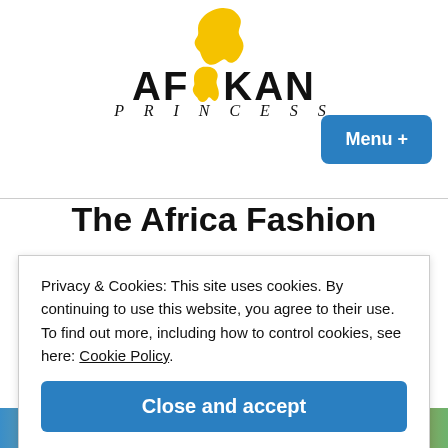[Figure (logo): Afkan Princess logo: Africa continent silhouette in yellow/gold above large bold text 'AFKAN' with the Africa shape replacing the 'I', and italic script 'PRINCESS' below]
[Figure (other): Blue rounded rectangle button labeled 'Menu +']
The Africa Fashion
Privacy & Cookies: This site uses cookies. By continuing to use this website, you agree to their use.
To find out more, including how to control cookies, see here: Cookie Policy
Close and accept